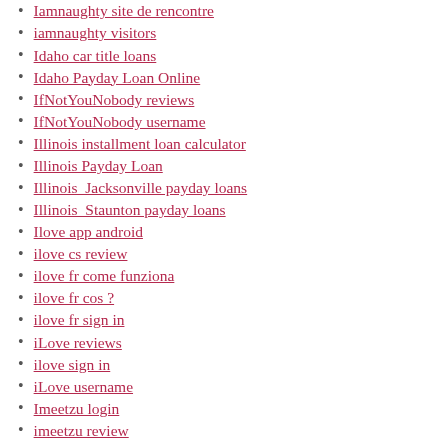Iamnaughty site de rencontre
iamnaughty visitors
Idaho car title loans
Idaho Payday Loan Online
IfNotYouNobody reviews
IfNotYouNobody username
Illinois installment loan calculator
Illinois Payday Loan
Illinois  Jacksonville payday loans
Illinois  Staunton payday loans
Ilove app android
ilove cs review
ilove fr come funziona
ilove fr cos ?
ilove fr sign in
iLove reviews
ilove sign in
iLove username
Imeetzu login
imeetzu review
iMeetzu reviews
iMeetzu username
immediate payday loans
immediate payday loans online
in USA reviews